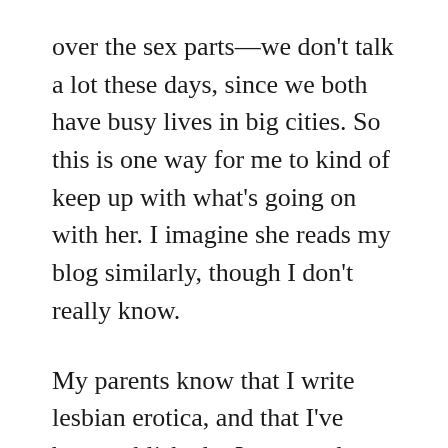over the sex parts—we don't talk a lot these days, since we both have busy lives in big cities. So this is one way for me to kind of keep up with what's going on with her. I imagine she reads my blog similarly, though I don't really know.
My parents know that I write lesbian erotica, and that I've been published—I was on the phone with my mom once while she searched for my name in Amazon and was, well, a little surprised with the results. I don't think she really wants to know about the details of my sexuality, though, so I